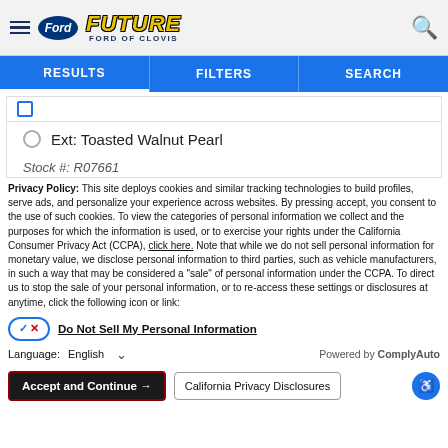Future Ford of Clovis — site header with hamburger menu, Ford logo, dealer logo, and search icon
[Figure (screenshot): Navigation tabs showing RESULTS, FILTERS, SEARCH on a blue background]
Ext: Toasted Walnut Pearl
Stock #: R07661 (partially visible)
Privacy Policy: This site deploys cookies and similar tracking technologies to build profiles, serve ads, and personalize your experience across websites. By pressing accept, you consent to the use of such cookies. To view the categories of personal information we collect and the purposes for which the information is used, or to exercise your rights under the California Consumer Privacy Act (CCPA), click here. Note that while we do not sell personal information for monetary value, we disclose personal information to third parties, such as vehicle manufacturers, in such a way that may be considered a "sale" of personal information under the CCPA. To direct us to stop the sale of your personal information, or to re-access these settings or disclosures at anytime, click the following icon or link:
Do Not Sell My Personal Information
Language: English — Powered by ComplyAuto
Accept and Continue → | California Privacy Disclosures